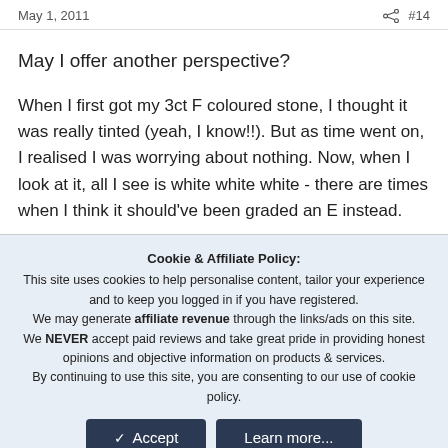May 1, 2011   #14
May I offer another perspective?
When I first got my 3ct F coloured stone, I thought it was really tinted (yeah, I know!!). But as time went on, I realised I was worrying about nothing. Now, when I look at it, all I see is white white white - there are times when I think it should've been graded an E instead.
Cookie & Affiliate Policy: This site uses cookies to help personalise content, tailor your experience and to keep you logged in if you have registered. We may generate affiliate revenue through the links/ads on this site. We NEVER accept paid reviews and take great pride in providing honest opinions and objective information on products & services. By continuing to use this site, you are consenting to our use of cookie policy.